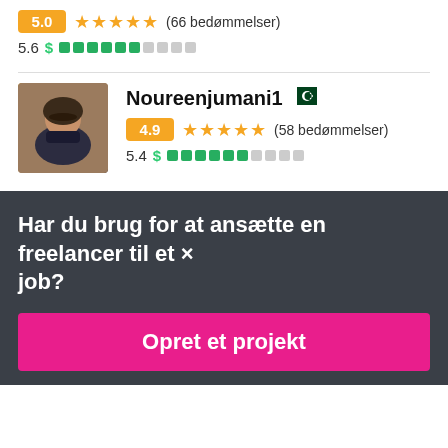5.0 ★★★★★ (66 bedømmelser)
5.6 $ ██████░░░░
Noureenjumani1 🇵🇰
4.9 ★★★★★ (58 bedømmelser)
5.4 $ ██████░░░░
Har du brug for at ansætte en freelancer til et job?
Opret et projekt